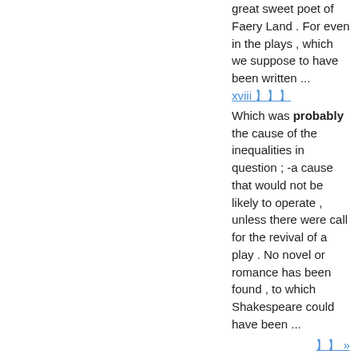great sweet poet of Faery Land . For even in the plays , which we suppose to have been written ...
xviii 〔〔〔
Which was probably the cause of the inequalities in question ; -a cause that would not be likely to operate , unless there were call for the revival of a play . No novel or romance has been found , to which Shakespeare could have been ...
〔〔 »
〔〔〔〔〔〔〔〔〔〔〔〔〔
〔〔〔〔 - 〔〔〔〔〔〔〔
〔〔〔〔〔〔〔〔〔〔〔〔〔